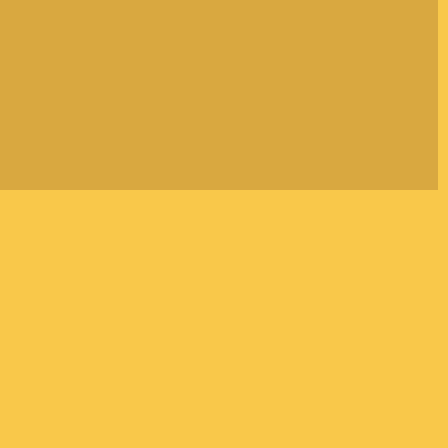Clothes should be comfortable and modest, i.e. no T-shirts and short trousers and skirts.
It is expected that the meditators follow exactly the method and not practise other medition methods.
Practical Meditation Instructions
Specific to the medition method of the late Ve... and falling movement of the abdomen as th... mental occurrences should be observed and... occurrence observed. For example: if thoughts... thinking". Labelling helps the meditator to s... observation.
The principle of labelling also applies to the wa...
Daily Schedule
A typical day during a retreat begins at 4 a.m.... sitting meditation alternate with one-hour peri... lunch, and a tea-break in the afternoon. In the e...
Requirements
Intensive meditation practise requires mental...